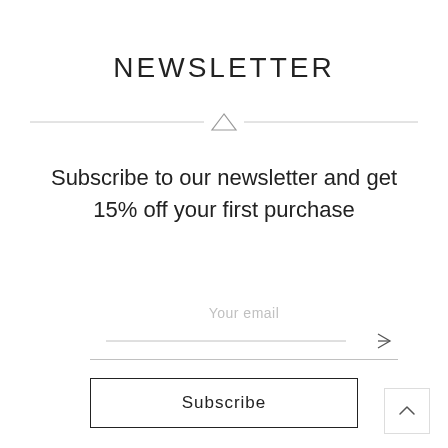NEWSLETTER
[Figure (other): Decorative divider with two horizontal lines and a downward-pointing triangle in the center]
Subscribe to our newsletter and get 15% off your first purchase
[Figure (other): Email input field with placeholder text 'Your email', a bottom border line, and a right-pointing arrow/send icon]
Subscribe
[Figure (other): Back-to-top button: small square with an upward-pointing chevron arrow]